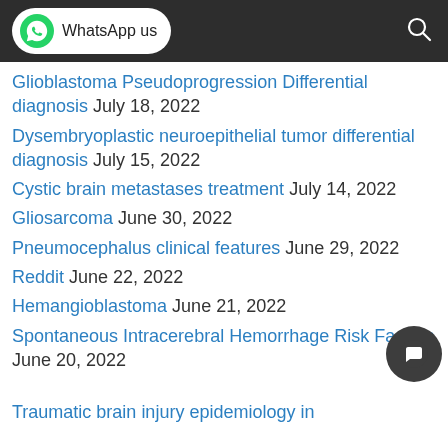WhatsApp us
Glioblastoma Pseudoprogression Differential diagnosis July 18, 2022
Dysembryoplastic neuroepithelial tumor differential diagnosis July 15, 2022
Cystic brain metastases treatment July 14, 2022
Gliosarcoma June 30, 2022
Pneumocephalus clinical features June 29, 2022
Reddit June 22, 2022
Hemangioblastoma June 21, 2022
Spontaneous Intracerebral Hemorrhage Risk Factors June 20, 2022
Traumatic brain injury epidemiology in